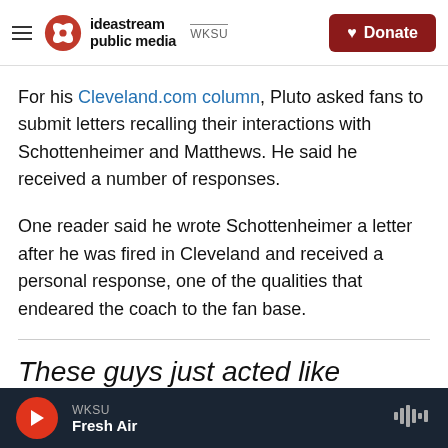ideastream public media | WKSU | Donate
For his Cleveland.com column, Pluto asked fans to submit letters recalling their interactions with Schottenheimer and Matthews. He said he received a number of responses.
One reader said he wrote Schottenheimer a letter after he was fired in Cleveland and received a personal response, one of the qualities that endeared the coach to the fan base.
These guys just acted like regular,
WKSU | Fresh Air